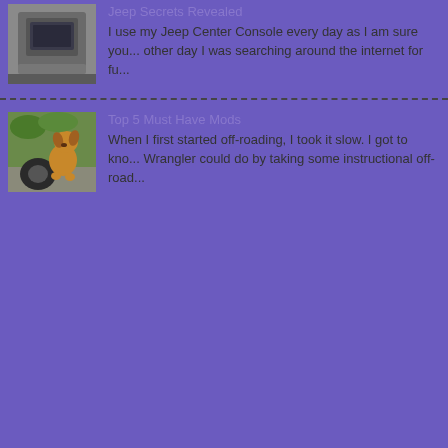Jeep Secrets Revealed
I use my Jeep Center Console every day as I am sure you... other day I was searching around the internet for fu...
Top 5 Must Have Mods
When I first started off-roading, I took it slow. I got to kno... Wrangler could do by taking some instructional off-road...